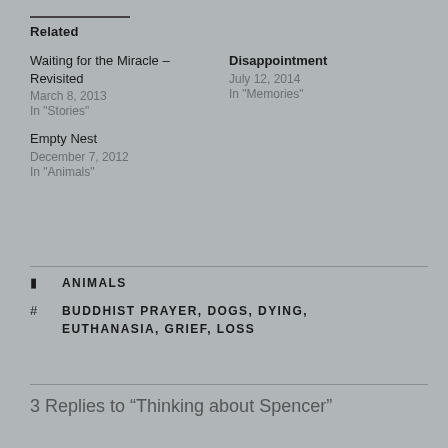Related
Waiting for the Miracle – Revisited
March 8, 2013
In "Stories"
Disappointment
July 12, 2014
In "Memories"
Empty Nest
December 7, 2012
In "Animals"
ANIMALS
BUDDHIST PRAYER, DOGS, DYING, EUTHANASIA, GRIEF, LOSS
3 Replies to “Thinking about Spencer”